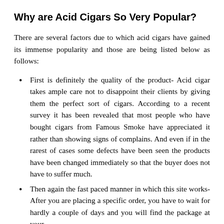Why are Acid Cigars So Very Popular?
There are several factors due to which acid cigars have gained its immense popularity and those are being listed below as follows:
First is definitely the quality of the product- Acid cigar takes ample care not to disappoint their clients by giving them the perfect sort of cigars. According to a recent survey it has been revealed that most people who have bought cigars from Famous Smoke have appreciated it rather than showing signs of complains. And even if in the rarest of cases some defects have been seen the products have been changed immediately so that the buyer does not have to suffer much.
Then again the fast paced manner in which this site works- After you are placing a specific order, you have to wait for hardly a couple of days and you will find the package at your